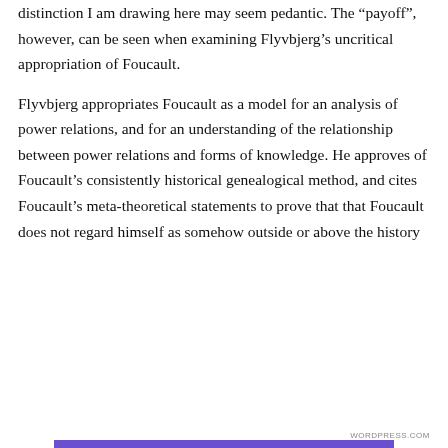distinction I am drawing here may seem pedantic. The “payoff”⁠, however, can be seen when examining Flyvbjerg’s uncritical appropriation of Foucault.
Flyvbjerg appropriates Foucault as a model for an analysis of power relations, and for an understanding of the relationship between power relations and forms of knowledge. He approves of Foucault’s consistently historical genealogical method, and cites Foucault’s meta-theoretical statements to prove that that Foucault does not regard himself as somehow outside or above the history
Privacy & Cookies: This site uses cookies. By continuing to use this website, you agree to their use.
To find out more, including how to control cookies, see here: Cookie Policy